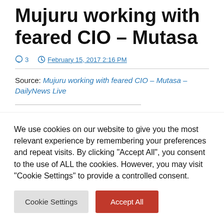Mujuru working with feared CIO – Mutasa
3  February 15, 2017 2:16 PM
Source: Mujuru working with feared CIO – Mutasa – DailyNews Live
We use cookies on our website to give you the most relevant experience by remembering your preferences and repeat visits. By clicking "Accept All", you consent to the use of ALL the cookies. However, you may visit "Cookie Settings" to provide a controlled consent.